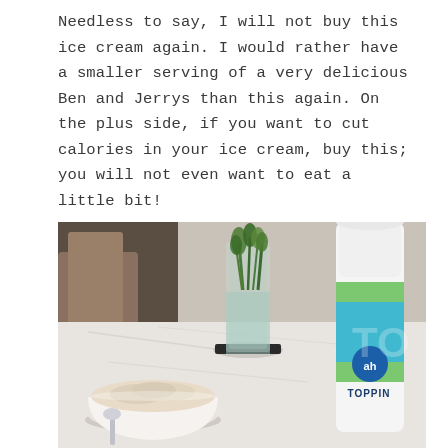Needless to say, I will not buy this ice cream again. I would rather have a smaller serving of a very delicious Ben and Jerrys than this again. On the plus side, if you want to cut calories in your ice cream, buy this; you will not even want to eat a little bit!
[Figure (photo): Photo of a white bowl of ice cream with a spoon, a glass vase with green plants, and a white aerosol can labeled 'TOPPING' with 'ah' (Albert Heijn) branding, all on a white marble table. Background shows a blurred room interior.]